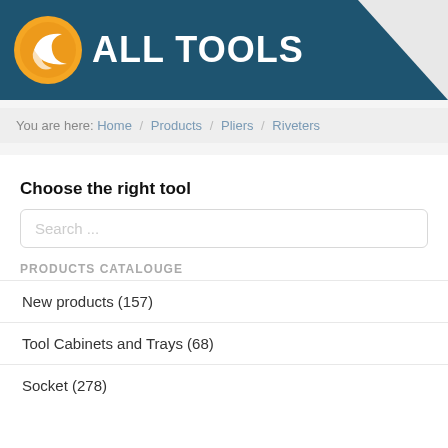[Figure (logo): AllTools logo with orange circular icon and white text 'ALL TOOLS' on dark blue header background]
You are here: Home / Products / Pliers / Riveters
Choose the right tool
Search ...
PRODUCTS CATALOUGE
New products (157)
Tool Cabinets and Trays (68)
Socket (278)